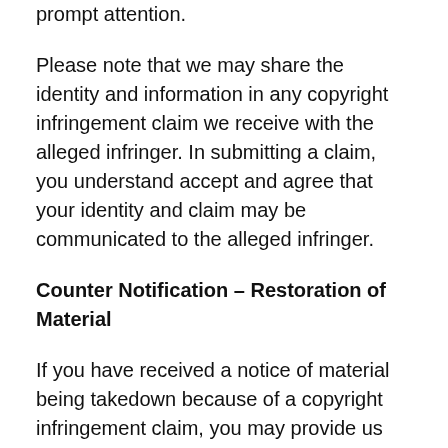prompt attention.
Please note that we may share the identity and information in any copyright infringement claim we receive with the alleged infringer. In submitting a claim, you understand accept and agree that your identity and claim may be communicated to the alleged infringer.
Counter Notification – Restoration of Material
If you have received a notice of material being takedown because of a copyright infringement claim, you may provide us with a counter notification in an effort to have the material in question restored to the site. Said